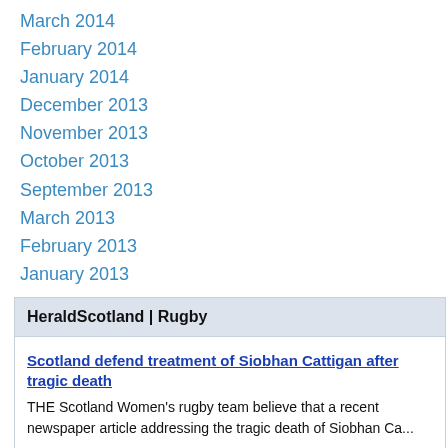March 2014
February 2014
January 2014
December 2013
November 2013
October 2013
September 2013
March 2013
February 2013
January 2013
HeraldScotland | Rugby
Scotland defend treatment of Siobhan Cattigan after tragic death
THE Scotland Women's rugby team believe that a recent newspaper article addressing the tragic death of Siobhan Ca...
Stirling boss Ben Cairns hopeful Wolves can claim first victory of now